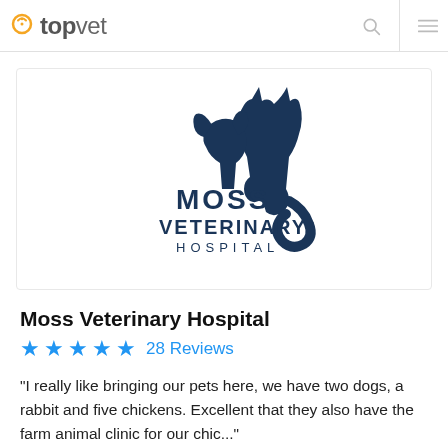topvet
[Figure (logo): Moss Veterinary Hospital logo: silhouette of a cat and dog in dark navy blue with text 'MOSS VETERINARY HOSPITAL']
Moss Veterinary Hospital
★★★★★ 28 Reviews
"I really like bringing our pets here, we have two dogs, a rabbit and five chickens. Excellent that they also have the farm animal clinic for our chic..."